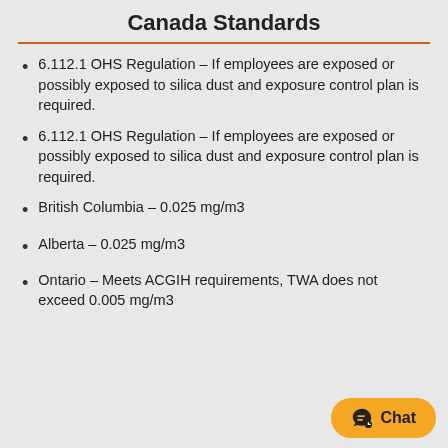Canada Standards
6.112.1 OHS Regulation – If employees are exposed or possibly exposed to silica dust and exposure control plan is required.
6.112.1 OHS Regulation – If employees are exposed or possibly exposed to silica dust and exposure control plan is required.
British Columbia – 0.025 mg/m3
Alberta – 0.025 mg/m3
Ontario – Meets ACGIH requirements, TWA does not exceed 0.005 mg/m3